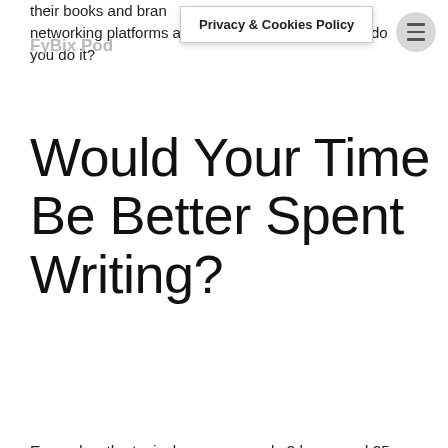Privacy & Cookies Policy
FyBix Pod
their books and brand. Which social networking platforms are the best to use? And how do you do it?
Would Your Time Be Better Spent Writing?
Every day, the typical person spends 2 hours and 25 minutes on social media. That's a colossal waste of time. This corresponds to about 20 full work weeks each year.
To put these figures in context, if you spent that much time each day writing instead of scrolling around social media, you could probably write three